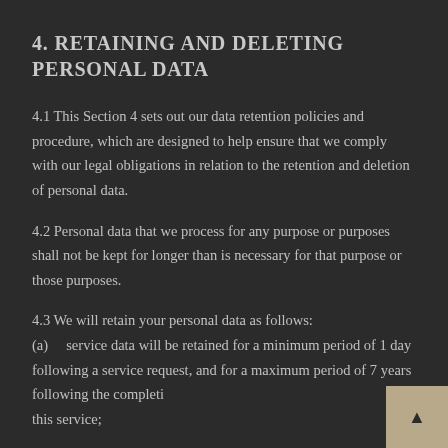4. RETAINING AND DELETING PERSONAL DATA
4.1 This Section 4 sets out our data retention policies and procedure, which are designed to help ensure that we comply with our legal obligations in relation to the retention and deletion of personal data.
4.2 Personal data that we process for any purpose or purposes shall not be kept for longer than is necessary for that purpose or those purposes.
4.3 We will retain your personal data as follows:
(a)    service data will be retained for a minimum period of 1 day following a service request, and for a maximum period of 7 years following the completion of this service;